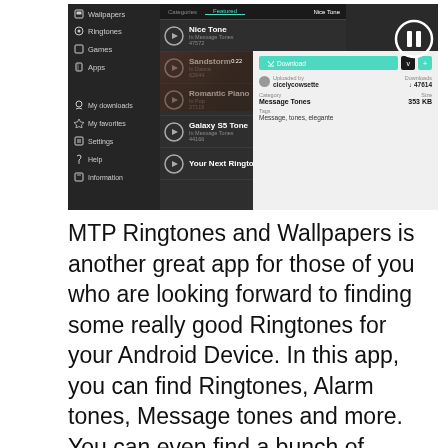[Figure (screenshot): Screenshot of MTP Ringtones and Wallpapers app showing a sidebar with Wallpapers, Ringtones, Games, Apps, My downloads, My favorites, Settings, Help, Information menu items, a list of ringtones (Nice Tone, Sandstorm, Romantic Piano, Galaxy S5 Tone, Your Next Ringtone), a detail panel showing download info for Nice Tone with 47614 downloads, Message Tones category, 353 KB size, tags: Message, tones, elegante, uploaded by cicelycowsette.]
MTP Ringtones and Wallpapers is another great app for those of you who are looking forward to finding some really good Ringtones for your Android Device. In this app, you can find Ringtones, Alarm tones, Message tones and more. You can even find a bunch of